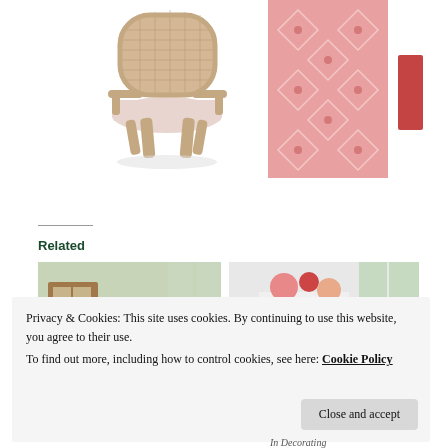[Figure (photo): French-style armchair with cane back and light pink upholstered seat cushion, wooden carved legs]
[Figure (photo): Pink and white diamond/geometric pattern area rug]
[Figure (photo): Partially visible red/pink decorative object on right edge]
Related
[Figure (photo): Interior room scene with wooden dresser and soft green tones]
[Figure (photo): Interior room scene with floral arrangement on a table near window with green checked curtains]
Privacy & Cookies: This site uses cookies. By continuing to use this website, you agree to their use.
To find out more, including how to control cookies, see here: Cookie Policy
Close and accept
In Decorating